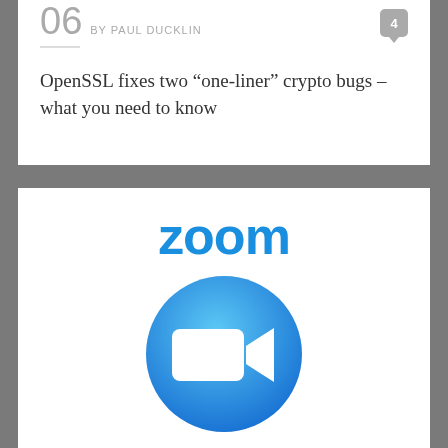06 BY PAUL DUCKLIN | comment: 4
OpenSSL fixes two “one-liner” crypto bugs – what you need to know
[Figure (logo): Zoom logo with blue wordmark 'zoom' and circular blue video camera icon below]
AUG 15 BY PAUL DUCKLIN | comment: 2
Zoom for Mac patches critical bug – update now!